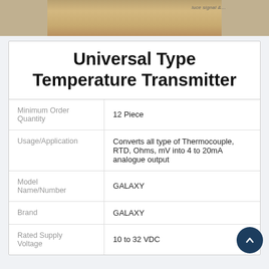[Figure (photo): Partial photo of a temperature transmitter device showing a label on beige/tan background]
Universal Type Temperature Transmitter
| Property | Value |
| --- | --- |
| Minimum Order Quantity | 12 Piece |
| Usage/Application | Converts all type of Thermocouple, RTD, Ohms, mV into 4 to 20mA analogue output |
| Model Name/Number | GALAXY |
| Brand | GALAXY |
| Rated Supply Voltage | 10 to 32 VDC |